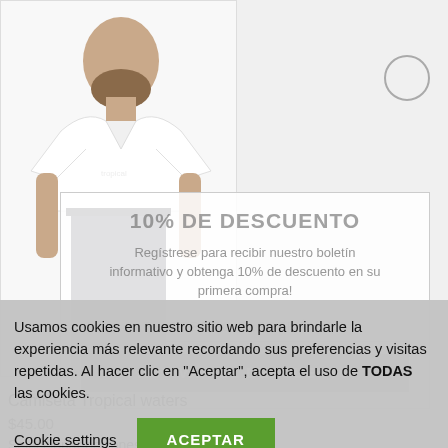[Figure (photo): Man wearing white v-neck t-shirt (Camiseta Tropical waters) shown from waist up with beard, against white background product photo]
10% DE DESCUENTO
Regístrese para recibir nuestro boletín informativo y obtenga 10% de descuento en su primera compra!
TU CORREO ELECTRÓNICO
ACTIVAR EL DESCUENTO
Camiseta Tropical waters
$45.00
Seleccionar opciones
Usamos cookies en nuestro sitio web para brindarle la experiencia más relevante recordando sus preferencias y visitas repetidas. Al hacer clic en "Aceptar", acepta el uso de TODAS las cookies.
Cookie settings
ACEPTAR